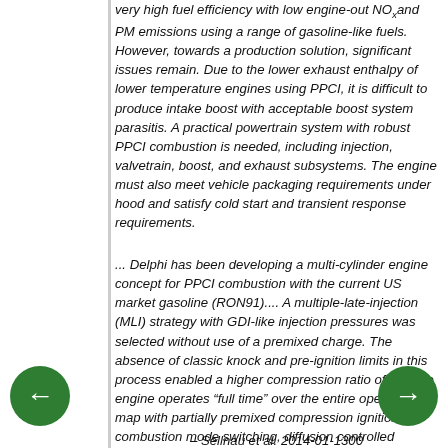very high fuel efficiency with low engine-out NOx and PM emissions using a range of gasoline-like fuels. However, towards a production solution, significant issues remain. Due to the lower exhaust enthalpy of lower temperature engines using PPCI, it is difficult to produce intake boost with acceptable boost system parasitis. A practical powertrain system with robust PPCI combustion is needed, including injection, valvetrain, boost, and exhaust subsystems. The engine must also meet vehicle packaging requirements under hood and satisfy cold start and transient response requirements.
... Delphi has been developing a multi-cylinder engine concept for PPCI combustion with the current US market gasoline (RON91).... A multiple-late-injection (MLI) strategy with GDI-like injection pressures was selected without use of a premixed charge. The absence of classic knock and pre-ignition limits in this process enabled a higher compression ratio of 15. The engine operates “full time” over the entire operating map with partially premixed compression ignition. No combustion mode switching, diffusion controlled combustion, or spark plugs were used. Delphi uses the term Gasoline Direct Injection Compression Ignition (GDCI) in reference to this combustion process.
– Sellnau et al. 2014-01-1300